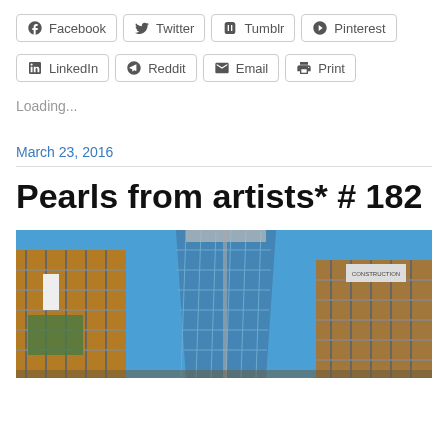Facebook | Twitter | Tumblr | Pinterest | LinkedIn | Reddit | Email | Print
Loading...
March 23, 2016
Pearls from artists* # 182
[Figure (photo): Construction photo showing buildings under construction against a blue sky, with scaffolding, cranes and building frameworks visible.]